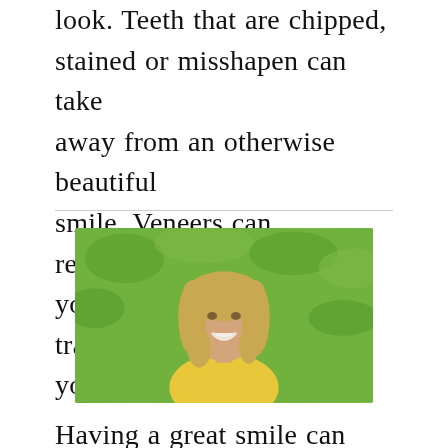look. Teeth that are chipped, stained or misshapen can take away from an otherwise beautiful smile. Veneers can rejuvenate your lackluster teeth & transform your smile.
[Figure (photo): A smiling blonde woman wearing a yellow top, photographed outdoors with green grass/foliage in the background.]
Having a great smile can make a